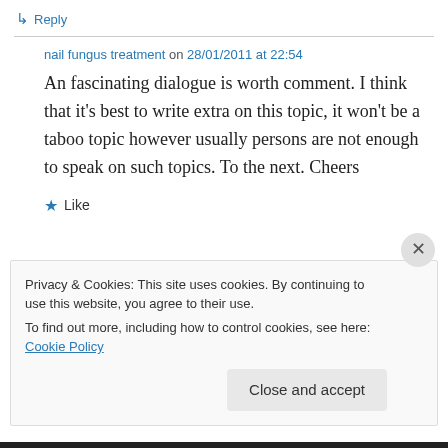↳ Reply
nail fungus treatment on 28/01/2011 at 22:54
An fascinating dialogue is worth comment. I think that it's best to write extra on this topic, it won't be a taboo topic however usually persons are not enough to speak on such topics. To the next. Cheers
★ Like
Privacy & Cookies: This site uses cookies. By continuing to use this website, you agree to their use.
To find out more, including how to control cookies, see here: Cookie Policy
Close and accept